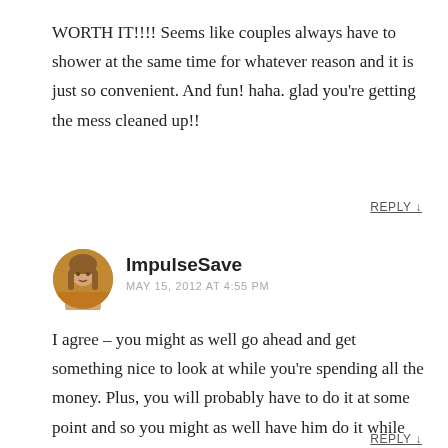WORTH IT!!!! Seems like couples always have to shower at the same time for whatever reason and it is just so convenient. And fun! haha. glad you're getting the mess cleaned up!!
REPLY ↓
ImpulseSave
MAY 15, 2012 AT 4:55 PM
I agree – you might as well go ahead and get something nice to look at while you're spending all the money. Plus, you will probably have to do it at some point and so you might as well have him do it while he's already there.
REPLY ↓